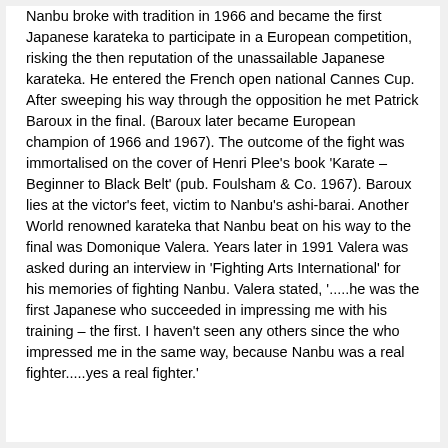Nanbu broke with tradition in 1966 and became the first Japanese karateka to participate in a European competition, risking the then reputation of the unassailable Japanese karateka. He entered the French open national Cannes Cup. After sweeping his way through the opposition he met Patrick Baroux in the final. (Baroux later became European champion of 1966 and 1967). The outcome of the fight was immortalised on the cover of Henri Plee's book 'Karate – Beginner to Black Belt' (pub. Foulsham & Co. 1967). Baroux lies at the victor's feet, victim to Nanbu's ashi-barai. Another World renowned karateka that Nanbu beat on his way to the final was Domonique Valera. Years later in 1991 Valera was asked during an interview in 'Fighting Arts International' for his memories of fighting Nanbu. Valera stated, '.....he was the first Japanese who succeeded in impressing me with his training – the first. I haven't seen any others since the who impressed me in the same way, because Nanbu was a real fighter.....yes a real fighter.'